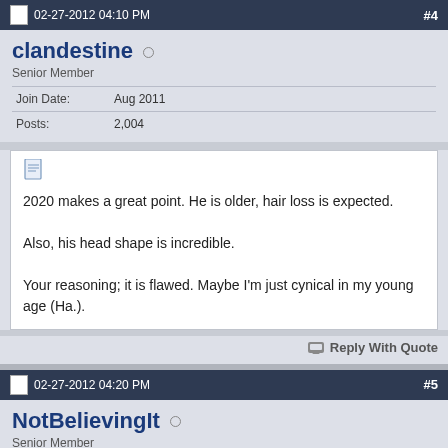02-27-2012 04:10 PM  #4
clandestine
Senior Member
| Join Date: | Aug 2011 |
| Posts: | 2,004 |
2020 makes a great point. He is older, hair loss is expected.

Also, his head shape is incredible.

Your reasoning; it is flawed. Maybe I'm just cynical in my young age (Ha.).
Reply With Quote
02-27-2012 04:20 PM  #5
NotBelievingIt
Senior Member
| Join Date: | Oct 2011 |
| Location: | Wisconsin |
| Posts: | 595 |